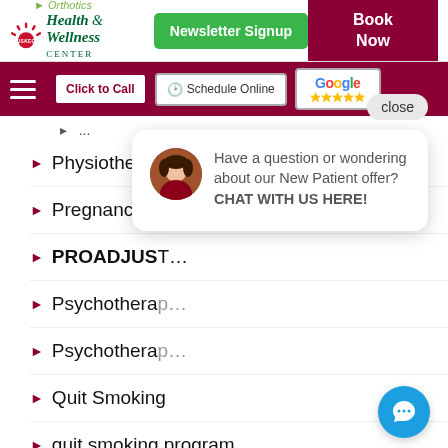[Figure (screenshot): Muskego Health & Wellness Center website header with logo, Newsletter Signup button, Book Now button, navigation bar with hamburger menu, Click to Call, Schedule Online, and Google review buttons]
Physiotherapy
Pregnancy Pain
PROADJUST (partially obscured)
Psychotherapy (partially obscured)
Psychotherapy (partially obscured)
Quit Smoking
quit smoking program
Reflexology
Have a question or wondering about our New Patient offer? CHAT WITH US HERE!
[Figure (screenshot): Close button and chat popup with avatar photo and message text]